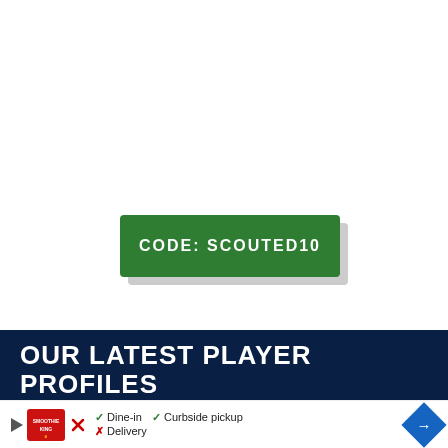CODE: SCOUTED10
OUR LATEST PLAYER PROFILES
[Figure (photo): Two photo thumbnails of football/soccer players side by side, partially visible at the bottom of the page]
[Figure (infographic): Advertisement bar at bottom: Smoothie King logo with play button and X icon. Options: Dine-in (checkmark), Curbside pickup (checkmark), Delivery (X mark). Blue navigation diamond arrow on right.]